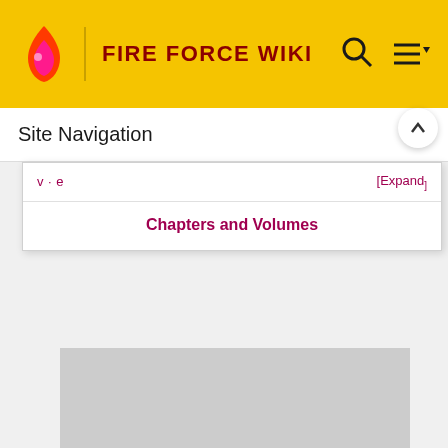FIRE FORCE WIKI
Site Navigation
v · e   [Expand]
Chapters and Volumes
[Figure (other): Gray placeholder image area below navigation template]